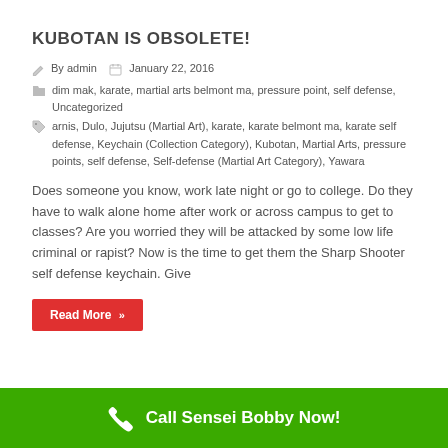KUBOTAN IS OBSOLETE!
By admin   January 22, 2016
dim mak, karate, martial arts belmont ma, pressure point, self defense, Uncategorized
arnis, Dulo, Jujutsu (Martial Art), karate, karate belmont ma, karate self defense, Keychain (Collection Category), Kubotan, Martial Arts, pressure points, self defense, Self-defense (Martial Art Category), Yawara
Does someone you know, work late night or go to college. Do they have to walk alone home after work or across campus to get to classes? Are you worried they will be attacked by some low life criminal or rapist? Now is the time to get them the Sharp Shooter self defense keychain. Give
Read More »
Call Sensei Bobby Now!